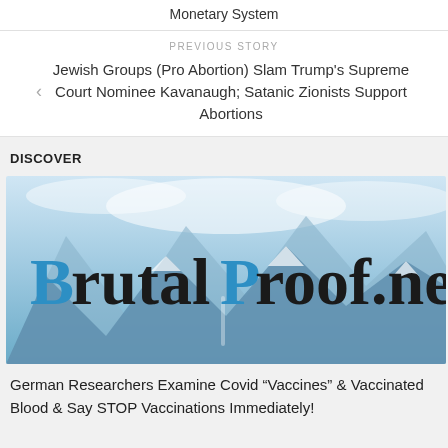Monetary System
PREVIOUS STORY
Jewish Groups (Pro Abortion) Slam Trump's Supreme Court Nominee Kavanaugh; Satanic Zionists Support Abortions
DISCOVER
[Figure (logo): BrutalProof.net logo on a mountain background with snowy peaks and blue tones]
German Researchers Examine Covid “Vaccines” & Vaccinated Blood & Say STOP Vaccinations Immediately!